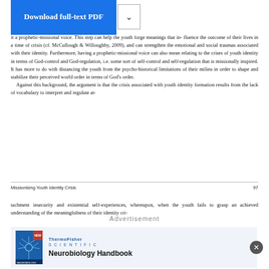[Figure (screenshot): Download full-text PDF button with dropdown arrow]
it a prophetic-missional voice. This step can help the youth forge meanings that influence the outcome of their lives in a time of crisis (cf. McCullough & Willoughby, 2009), and can strengthen the emotional and social traumas associated with their identity. Furthermore, having a prophetic-missional voice can also mean relating to the crises of youth identity in terms of God-control and God-regulation, i.e. some sort of self-control and self-regulation that is missionally inspired. It has more to do with distancing the youth from the psycho-historical limitations of their milieu in order to shape and stabilize their perceived world order in terms of God's order. Against this background, the argument is that the crisis associated with youth identity formation results from the lack of vocabulary to interpret and regulate at-
Missionising Youth Identity Crisis                                                    97
tachment insecurity and existential self-experiences, whereupon, when the youth fails to grasp an achieved understanding of the meaningfulness of their identity cri-
[Figure (photo): Advertisement: Neurobiology Handbook by Thermo Fisher Scientific, showing book cover with neuron image]